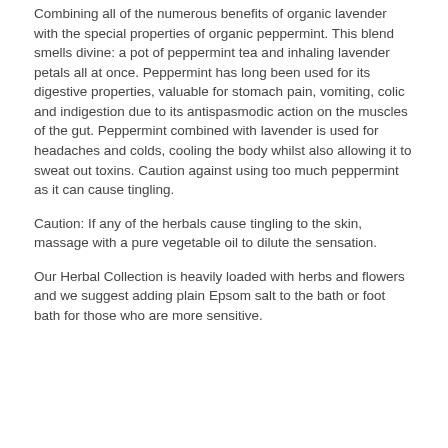Combining all of the numerous benefits of organic lavender with the special properties of organic peppermint. This blend smells divine: a pot of peppermint tea and inhaling lavender petals all at once. Peppermint has long been used for its digestive properties, valuable for stomach pain, vomiting, colic and indigestion due to its antispasmodic action on the muscles of the gut. Peppermint combined with lavender is used for headaches and colds, cooling the body whilst also allowing it to sweat out toxins. Caution against using too much peppermint as it can cause tingling.
Caution: If any of the herbals cause tingling to the skin, massage with a pure vegetable oil to dilute the sensation.
Our Herbal Collection is heavily loaded with herbs and flowers and we suggest adding plain Epsom salt to the bath or foot bath for those who are more sensitive.